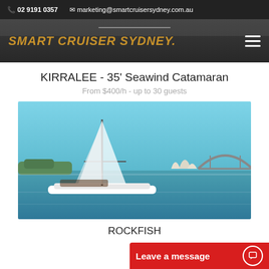02 9191 0357   marketing@smartcruisersydney.com.au
[Figure (screenshot): Smart Cruiser Sydney navigation bar with logo and hamburger menu]
KIRRALEE - 35' Seawind Catamaran
From $400/h - up to 30 guests
[Figure (photo): Photo of the Kirralee catamaran sailing on Sydney Harbour with the Opera House and Harbour Bridge in the background]
ROCKFISH
Leave a message